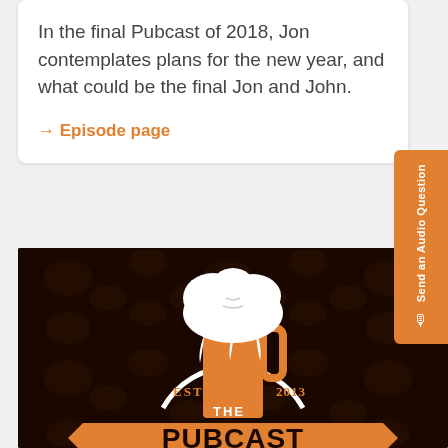In the final Pubcast of 2018, Jon contemplates plans for the new year, and what could be the final Jon and John.
→ Episode page
[Figure (logo): The Pubcast logo on a dark brown ornamental background. Features an illustrated beer mug with overflowing white foam, flanked by a circular white arch. Orange banner ribbon at bottom reads 'THE PUBCAST' in bold black letters. Text 'EST' on left and '2013' on right in orange. Dark brown damask patterned background.]
Send an Audio Question